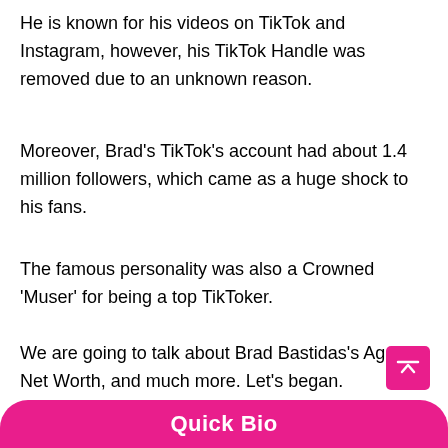He is known for his videos on TikTok and Instagram, however, his TikTok Handle was removed due to an unknown reason.
Moreover, Brad's TikTok's account had about 1.4 million followers, which came as a huge shock to his fans.
The famous personality was also a Crowned 'Muser' for being a top TikToker.
We are going to talk about Brad Bastidas's Age, Net Worth, and much more. Let's began.
Quick Bio